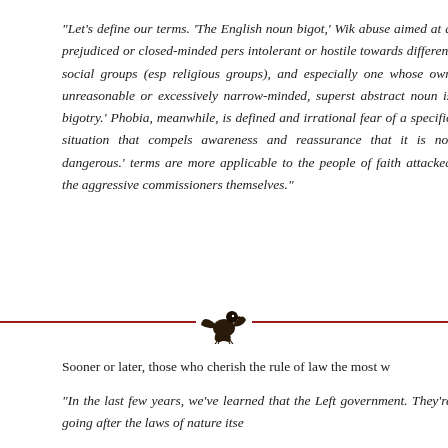“Let’s define our terms. ‘The English noun bigot,’ Wik abuse aimed at a prejudiced or closed-minded pers intolerant or hostile towards different social groups (esp religious groups), and especially one whose own unreasonable or excessively narrow-minded, superst abstract noun is bigotry.’ Phobia, meanwhile, is defined and irrational fear of a specific situation that compels awareness and reassurance that it is not dangerous.’ terms are more applicable to the people of faith attacked the aggressive commissioners themselves.”
[Figure (illustration): Decorative divider: a horizontal red line with a small eagle illustration in the center]
Sooner or later, those who cherish the rule of law the most w
“In the last few years, we’ve learned that the Left government. They’re going after the laws of nature itse